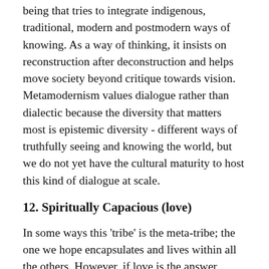being that tries to integrate indigenous, traditional, modern and postmodern ways of knowing. As a way of thinking, it insists on reconstruction after deconstruction and helps move society beyond critique towards vision. Metamodernism values dialogue rather than dialectic because the diversity that matters most is epistemic diversity - different ways of truthfully seeing and knowing the world, but we do not yet have the cultural maturity to host this kind of dialogue at scale.
12. Spiritually Capacious (love)
In some ways this 'tribe' is the meta-tribe; the one we hope encapsulates and lives within all the others. However, if love is the answer,